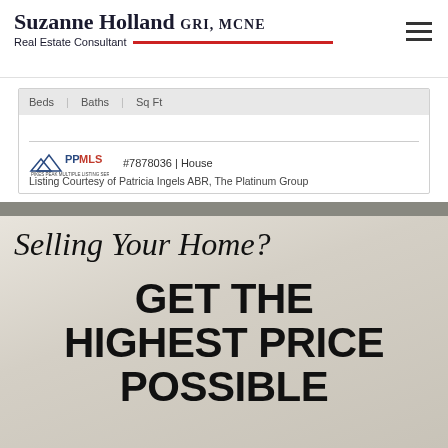Suzanne Holland GRI, MCNE — Real Estate Consultant
#7878036 | House
Listing Courtesy of Patricia Ingels ABR, The Platinum Group
Selling Your Home?
GET THE HIGHEST PRICE POSSIBLE